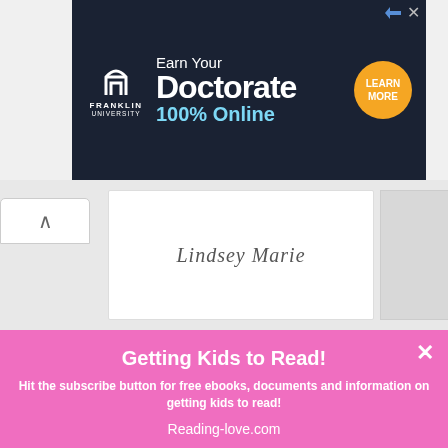[Figure (screenshot): Franklin University advertisement banner: 'Earn Your Doctorate 100% Online' with Learn More button on dark navy background]
[Figure (screenshot): Website background showing a card/document with cursive text 'Lindsey Marie' and a navigation up-arrow button]
Getting Kids to Read!
Hit the subscribe button for free ebooks, documents and information on getting kids to read!
Reading-love.com
Email
SUBSCRIBE